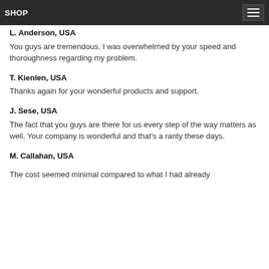SHOP
L. Anderson, USA
You guys are tremendous. I was overwhelmed by your speed and thoroughness regarding my problem.
T. Kienlen, USA
Thanks again for your wonderful products and support.
J. Sese, USA
The fact that you guys are there for us every step of the way matters as well. Your company is wonderful and that's a rarity these days.
M. Callahan, USA
The cost seemed minimal compared to what I had already